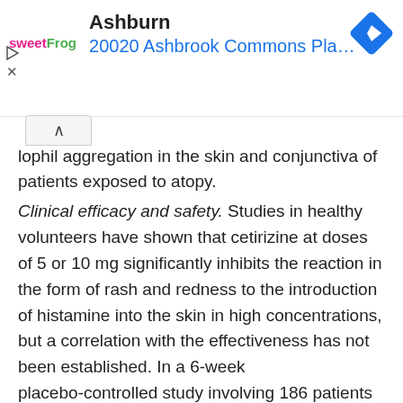[Figure (screenshot): Ad banner showing sweetFrog logo, 'Ashburn' title, '20020 Ashbrook Commons Pla...' subtitle in blue, and a blue diamond navigation arrow icon on the right]
...lophil aggregation in the skin and conjunctiva of patients exposed to atopy.
Clinical efficacy and safety. Studies in healthy volunteers have shown that cetirizine at doses of 5 or 10 mg significantly inhibits the reaction in the form of rash and redness to the introduction of histamine into the skin in high concentrations, but a correlation with the effectiveness has not been established. In a 6-week placebo-controlled study involving 186 patients with allergic rhinitis and concomitant bronchial asthma of mild and moderate severity, it was shown that taking cetirizine at a dose of 10 mg once a day reduces